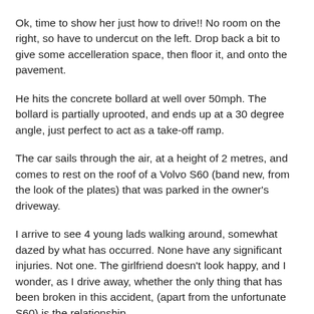Ok, time to show her just how to drive!! No room on the right, so have to undercut on the left. Drop back a bit to give some accelleration space, then floor it, and onto the pavement.
He hits the concrete bollard at well over 50mph. The bollard is partially uprooted, and ends up at a 30 degree angle, just perfect to act as a take-off ramp.
The car sails through the air, at a height of 2 metres, and comes to rest on the roof of a Volvo S60 (band new, from the look of the plates) that was parked in the owner's driveway.
I arrive to see 4 young lads walking around, somewhat dazed by what has occurred. None have any significant injuries. Not one. The girlfriend doesn't look happy, and I wonder, as I drive away, whether the only thing that has been broken in this accident, (apart from the unfortunate S60) is the relationship.
I go home, so pleased that my teenage son isn't like the others. Oh, and that he can't afford the car insurance, so